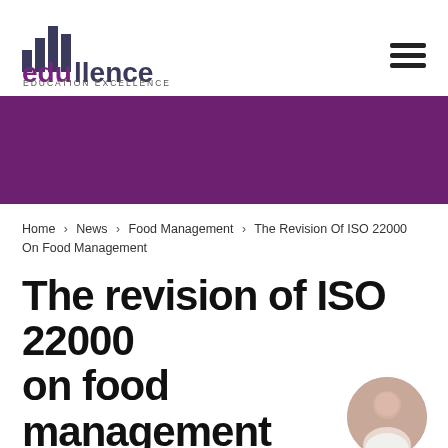[Figure (logo): Edullence Education Excellence logo with bar chart icon and purple/dark text]
Home > News > Food Management > The Revision Of ISO 22000 On Food Management
The revision of ISO 22000 on food management